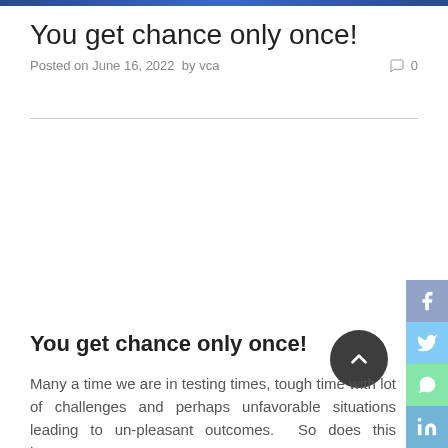You get chance only once!
Posted on June 16, 2022  by vca    0
You get chance only once!
Many a time we are in testing times, tough time with lot of challenges and perhaps unfavorable situations leading to un-pleasant outcomes.  So does this happen